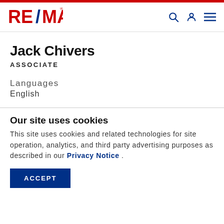RE/MAX
Jack Chivers
Associate
Languages
English
Our site uses cookies
This site uses cookies and related technologies for site operation, analytics, and third party advertising purposes as described in our Privacy Notice .
ACCEPT